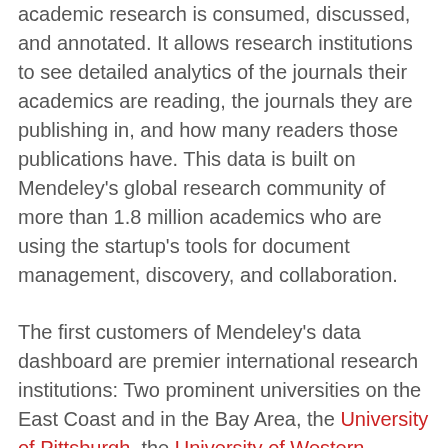academic research is consumed, discussed, and annotated. It allows research institutions to see detailed analytics of the journals their academics are reading, the journals they are publishing in, and how many readers those publications have. This data is built on Mendeley's global research community of more than 1.8 million academics who are using the startup's tools for document management, discovery, and collaboration.
The first customers of Mendeley's data dashboard are premier international research institutions: Two prominent universities on the East Coast and in the Bay Area, the University of Pittsburgh, the University of Western Ontario, the University of Nevada, Reno, the VTT Technical Research Centre of Finland, the Korea Advanced Institute of Science and Technology, and the Agriculture, Forestry and